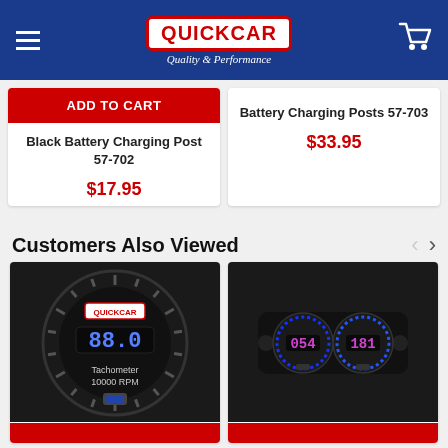QuickCar Quality & Performance
ADD TO CART
Black Battery Charging Post 57-702
$17.95
Battery Charging Posts 57-703
$33.95
Customers Also Viewed
[Figure (photo): QuickCar round digital tachometer gauge, black face, showing 00.0 display and 'Tachometer 10000 RPM' text, with QuickCar logo]
[Figure (photo): QuickCar dual gauge panel mounted in black bracket, showing two circular digital gauges with LED indicators displaying 054 and 181]